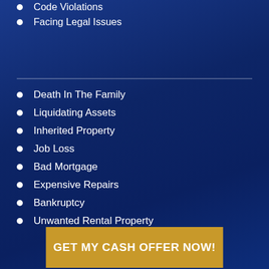Code Violations
Facing Legal Issues
Death In The Family
Liquidating Assets
Inherited Property
Job Loss
Bad Mortgage
Expensive Repairs
Bankruptcy
Unwanted Rental Property
GET MY CASH OFFER NOW!